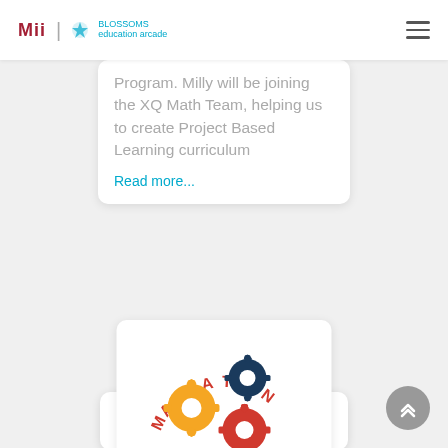MIT | BLOSSOMS Education Arcade
Program. Milly will be joining the XQ Math Team, helping us to create Project Based Learning curriculum
Read more...
[Figure (logo): Make-a-Thon logo with colorful interlocking gears arranged in a semicircle with text MAKE A THON in red letters]
ANNOUNCEMENT